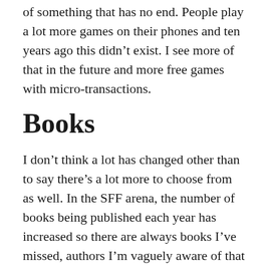of something that has no end. People play a lot more games on their phones and ten years ago this didn't exist. I see more of that in the future and more free games with micro-transactions.
Books
I don't think a lot has changed other than to say there's a lot more to choose from as well. In the SFF arena, the number of books being published each year has increased so there are always books I've missed, authors I'm vaguely aware of that are popular and favourites among some readers, and other authors I've just not heard of before. People will be aghast and say you've not heard of X?? But that's just because there's too much of everything to stay up to date. And, people are constantly battling for attention on social media so the flood of information never stops 24×7 which means you can